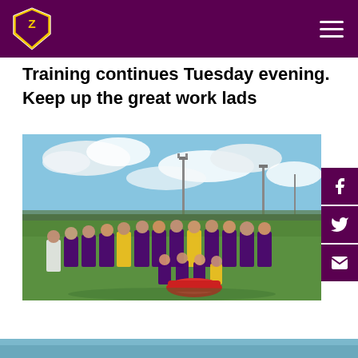GAA Club website header with logo and navigation
Training continues Tuesday evening. Keep up the great work lads
[Figure (photo): Group photo of young GAA players in purple and yellow jerseys posing on a grass pitch with floodlights and cloudy sky in background. A red kit bag sits in front of the group.]
[Figure (photo): Partial view of another image at the bottom of the page]